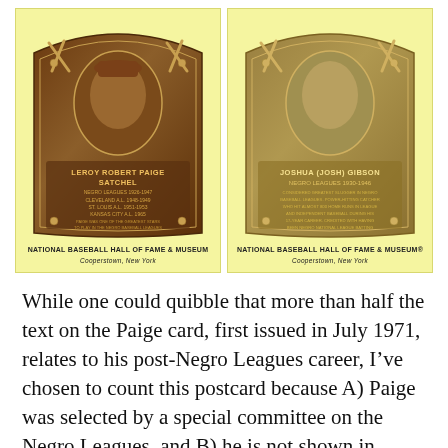[Figure (photo): Two Baseball Hall of Fame plaque postcards side by side on yellow background. Left plaque: Leroy Robert Paige 'Satchel', Negro Leagues 1926-1947, Cleveland A.L. 1948-1949, St. Louis A.L. 1951-1953, Kansas City A.L. 1965. Right plaque: Joshua (Josh) Gibson, Negro Leagues 1930-1946.]
NATIONAL BASEBALL HALL OF FAME & MUSEUM
Cooperstown, New York
NATIONAL BASEBALL HALL OF FAME & MUSEUM®
Cooperstown, New York
While one could quibble that more than half the text on the Paige card, first issued in July 1971, relates to his post-Negro Leagues career, I've chosen to count this postcard because A) Paige was selected by a special committee on the Negro Leagues, and B) he is not shown in